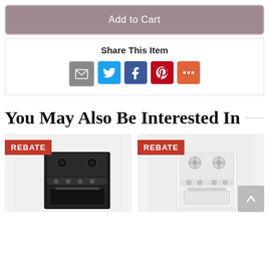Add to Cart
Share This Item
[Figure (infographic): Social sharing icons: email (grey), Twitter (blue), Facebook (dark blue), Pinterest (red), More (orange)]
You May Also Be Interested In
[Figure (photo): Black gas range/stove with REBATE badge]
[Figure (photo): White gas range/stove with REBATE badge]